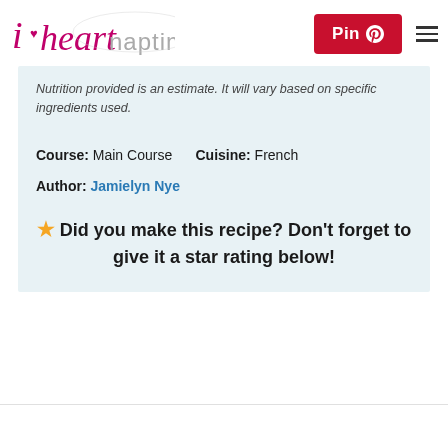i heart naptime | Pin | menu
Nutrition provided is an estimate. It will vary based on specific ingredients used.
Course: Main Course   Cuisine: French
Author: Jamielyn Nye
★ Did you make this recipe? Don't forget to give it a star rating below!